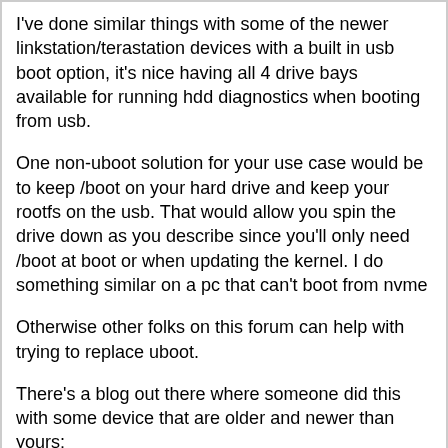I've done similar things with some of the newer linkstation/terastation devices with a built in usb boot option, it's nice having all 4 drive bays available for running hdd diagnostics when booting from usb.
One non-uboot solution for your use case would be to keep /boot on your hard drive and keep your rootfs on the usb. That would allow you spin the drive down as you describe since you'll only need /boot at boot or when updating the kernel. I do something similar on a pc that can't boot from nvme
Otherwise other folks on this forum can help with trying to replace uboot.
There's a blog out there where someone did this with some device that are older and newer than yours: https://sites.google.com/site/shihsung/home
Reply | Quote
bodhi
Re: U-Boot for Buffalo Linkstations
June 01, 2019 06:10PM
Admin
Registered: 11 years ago
Posts: 16,666